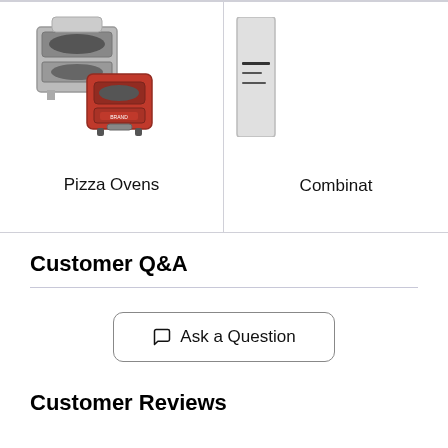[Figure (photo): Pizza ovens product images: a stone/gray pizza oven in the back and a red compact pizza oven in the front]
Pizza Ovens
[Figure (photo): Partially visible product image (combination oven or similar appliance) on the right side]
Combinat
Customer Q&A
Ask a Question
Customer Reviews